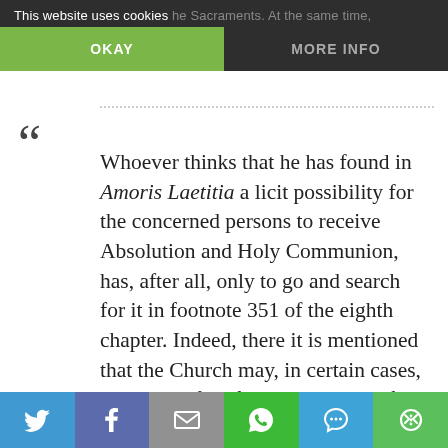This website uses cookies [cookie banner overlay with OKAY and MORE INFO buttons]
Whoever thinks that he has found in Amoris Laetitia a licit possibility for the concerned persons to receive Absolution and Holy Communion, has, after all, only to go and search for it in footnote 351 of the eighth chapter. Indeed, there it is mentioned that the Church may, in certain cases, grant such faithful also the help of the Sacraments. And indeed, this was interpreted in this sense.
[Social share bar: Twitter, Facebook, Email, WhatsApp, SMS, More]